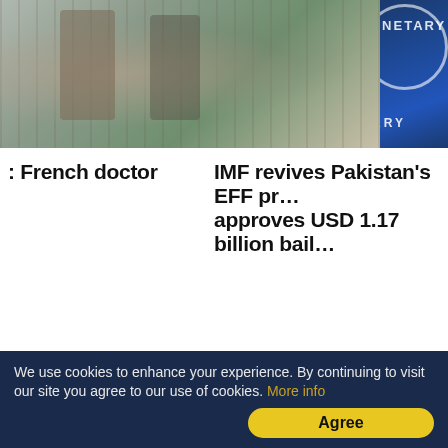[Figure (photo): Two photos side by side: left shows people in a shopping street scene, right shows a blue IMF flag/logo]
: French doctor
IMF revives Pakistan's EFF pr… approves USD 1.17 billion bail…
Now we are on Telegram too. Follow us for updates
TAGS  Texas  Rome Villa  Rome Villa Auction
ADVERTISEMENT
We use cookies to enhance your experience. By continuing to visit our site you agree to our use of cookies. More info